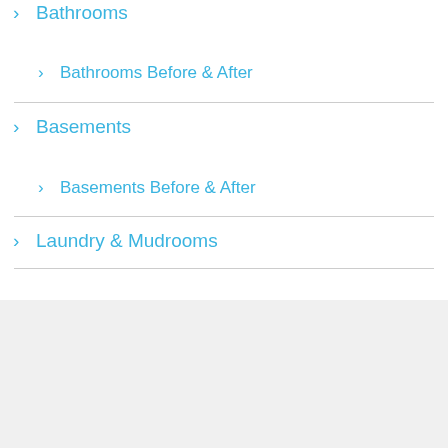> Bathrooms
> Bathrooms Before & After
> Basements
> Basements Before & After
> Laundry & Mudrooms